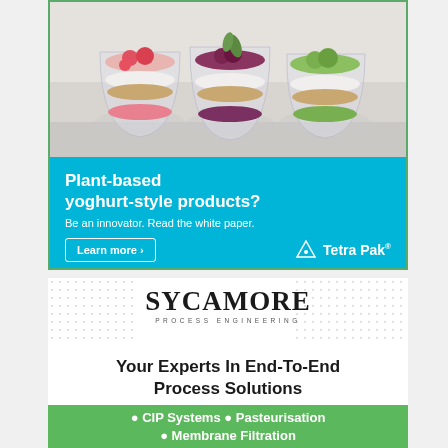[Figure (photo): Three glass cups filled with layered yoghurt-style parfaits topped with various fruits (strawberries, dark berries, kiwi) and granola]
Plant-based yoghurt-style products?
Be an innovator. Read the white paper.
Learn more >
[Figure (logo): Tetra Pak logo with triangle/arrow icon]
[Figure (logo): Sycamore Process Engineering logo with dot pattern decoration]
Your Experts In End-To-End Process Solutions
• CIP Systems • Pasteurisation • Membrane Filtration